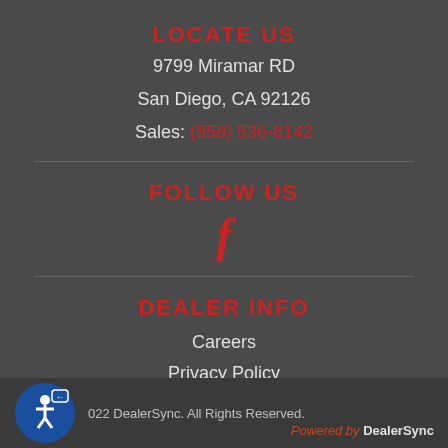LOCATE US
9799 Miramar RD
San Diego, CA 92126
Sales: (858) 536-8142
FOLLOW US
[Figure (logo): Facebook icon (letter f in red)]
DEALER INFO
Careers
Privacy Policy
Disclaimer Notice
© 2022 DealerSync. All Rights Reserved. Powered by DealerSync